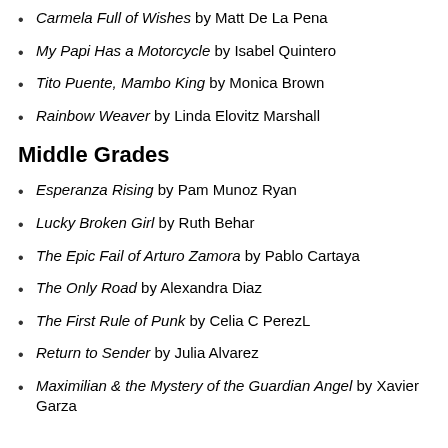Carmela Full of Wishes by Matt De La Pena
My Papi Has a Motorcycle by Isabel Quintero
Tito Puente, Mambo King by Monica Brown
Rainbow Weaver by Linda Elovitz Marshall
Middle Grades
Esperanza Rising by Pam Munoz Ryan
Lucky Broken Girl by Ruth Behar
The Epic Fail of Arturo Zamora by Pablo Cartaya
The Only Road by Alexandra Diaz
The First Rule of Punk by Celia C PerezL
Return to Sender by Julia Alvarez
Maximilian & the Mystery of the Guardian Angel by Xavier Garza